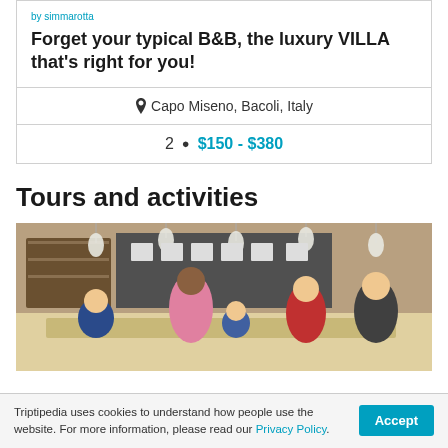by simmarotta
Forget your typical B&B, the luxury VILLA that's right for you!
Capo Miseno, Bacoli, Italy
2 people $150 - $380
Tours and activities
[Figure (photo): Group of people sitting together in a restaurant/cafe interior with hanging lights, wooden furniture, and shelves with items in the background.]
Triptipedia uses cookies to understand how people use the website. For more information, please read our Privacy Policy.